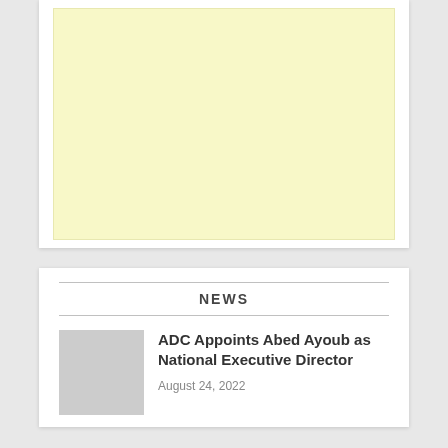[Figure (other): Yellow/cream colored advertisement or placeholder image box]
NEWS
ADC Appoints Abed Ayoub as National Executive Director
August 24, 2022